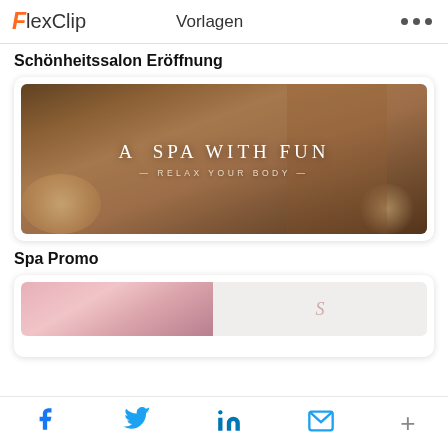FlexClip  Vorlagen
Schönheitssalon Eröffnung
[Figure (photo): Spa promotional video thumbnail showing a young woman holding a wooden bowl with flower petals, text overlay reads 'A SPA WITH FUN - RELAX YOUR BODY -' on a warm candlelit background]
Spa Promo
[Figure (photo): Partially visible spa/beauty promo image showing a person's face with a pink/rose toned background, partially cropped at bottom of page]
Social share icons: Facebook, Twitter, LinkedIn, Email, More (+)